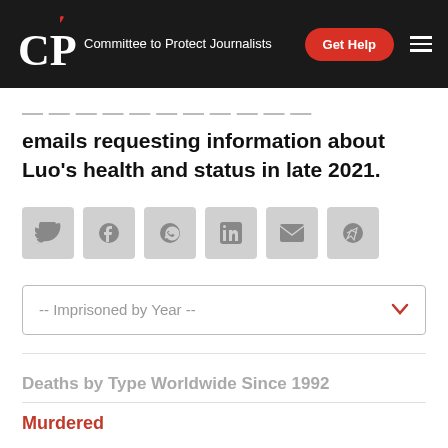CPJ — Committee to Protect Journalists
emails requesting information about Luo's health and status in late 2021.
[Figure (infographic): Row of six social share icon buttons: Twitter, Facebook, WhatsApp, LinkedIn, Email, Telegram]
-- Imprisoned by Year --
Deaths by Type Worldwide Since 1992
Murdered